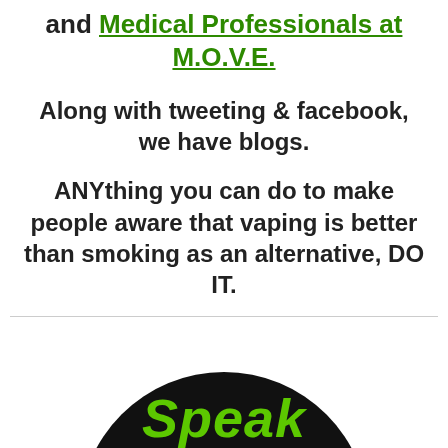and Medical Professionals at M.O.V.E.
Along with tweeting & facebook, we have blogs.
ANYthing you can do to make people aware that vaping is better than smoking as an alternative, DO IT.
[Figure (illustration): Black circular badge with green italic text reading 'Speak' and partially visible additional text below, on a white background.]